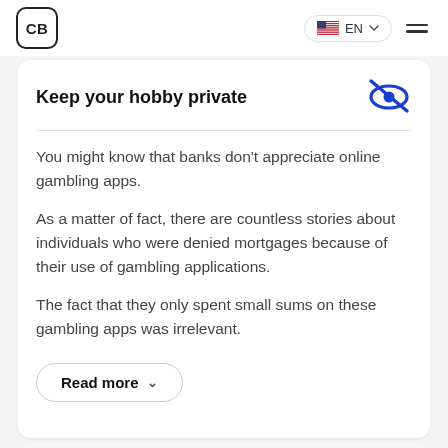CB  EN
Keep your hobby private
You might know that banks don't appreciate online gambling apps.
As a matter of fact, there are countless stories about individuals who were denied mortgages because of their use of gambling applications.
The fact that they only spent small sums on these gambling apps was irrelevant.
Read more